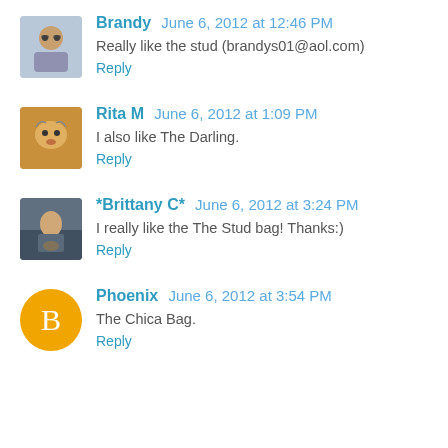[Figure (photo): Avatar photo of Brandy - two people with sunglasses]
Brandy June 6, 2012 at 12:46 PM
Really like the stud (brandys01@aol.com)
Reply
[Figure (photo): Avatar photo of Rita M - cat or small animal in basket]
Rita M June 6, 2012 at 1:09 PM
I also like The Darling.
Reply
[Figure (photo): Avatar photo of Brittany C - person outdoors with dog]
*Brittany C* June 6, 2012 at 3:24 PM
I really like the The Stud bag! Thanks:)
Reply
[Figure (logo): Avatar icon for Phoenix - orange circle with white B letter (Blogger icon)]
Phoenix June 6, 2012 at 3:54 PM
The Chica Bag.
Reply